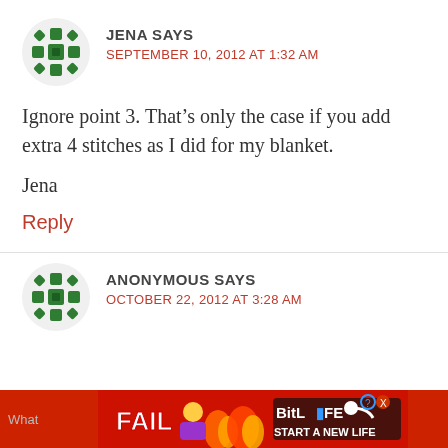[Figure (other): Green decorative avatar icon for user Jena]
JENA SAYS
SEPTEMBER 10, 2012 AT 1:32 AM
Ignore point 3. That’s only the case if you add extra 4 stitches as I did for my blanket.
Jena
Reply
[Figure (other): Green decorative avatar icon for Anonymous]
ANONYMOUS SAYS
OCTOBER 22, 2012 AT 3:28 AM
[Figure (screenshot): Advertisement banner: FAIL image with BitLife Start a New Life ad on red background]